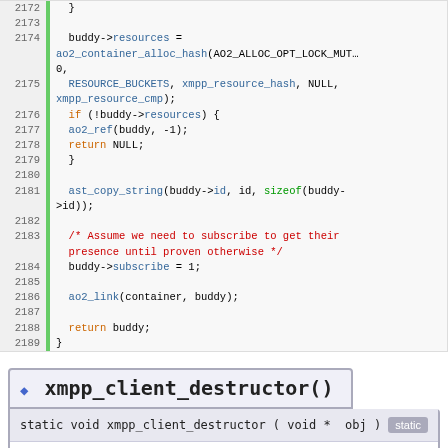[Figure (screenshot): Code listing showing C source code lines 2172-2189 with syntax highlighting. Shows buddy resource allocation, if check, ao2_ref, return NULL, ast_copy_string, comment about subscribing for presence, buddy->subscribe = 1, ao2_link, return buddy, closing brace.]
xmpp_client_destructor()
static void xmpp_client_destructor ( void *  obj )
Destructor callback function for XMPP client.